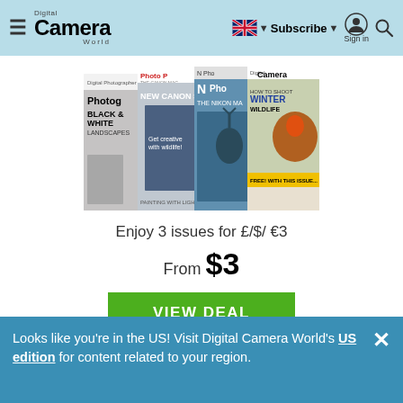Digital Camera World — Subscribe | Sign in
[Figure (illustration): Four overlapping photography magazine covers: Digital Photographer (Black & White Landscapes), Photo Plus (New Canon Skills), N Photo (The Nikon Magazine), Digital Camera (How to Shoot Winter Wildlife)]
Enjoy 3 issues for £/$/ €3
From $3
VIEW DEAL
Looks like you're in the US! Visit Digital Camera World's US edition for content related to your region.